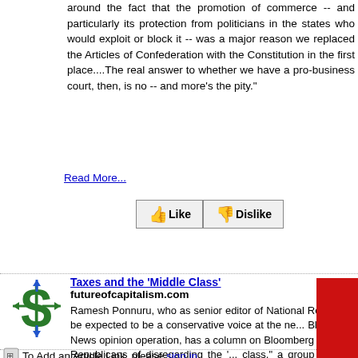around the fact that the promotion of commerce -- and particularly its protection from politicians in the states who would exploit or block it -- was a major reason we replaced the Articles of Confederation with the Constitution in the first place....The real answer to whether we have a pro-business court, then, is no -- and more's the pity."
Read More...
[Figure (illustration): Like and Dislike buttons with thumbs up and thumbs down icons]
[Figure (logo): Green dollar sign icon with arrows pointing left and right]
Taxes and the 'Middle Class'
futureofcapitalism.com
Ramesh Ponnuru, who as senior editor of National Re... might be expected to be a conservative voice at the ne... Bloomberg News opinion operation, has a column on Bloomberg accusing Republicans of disregarding the '... class,' a group he does not define. Mr. Ponnuru writes...
Reagan in 1980 promised to cut tax rates for every... and stop inflation from pushing middle-class voters... higher tax brackets. He won re-election, and his vi... president won the election to succeed him, in part promising to keep these voters' taxes low. In 1994 2000, Republicans again made big wins in part by promising to cut taxes for middle-class parents.
Read More...
[Figure (illustration): Like and Dislike buttons with thumbs up and thumbs down icons]
To Add an Article Link, please sign in